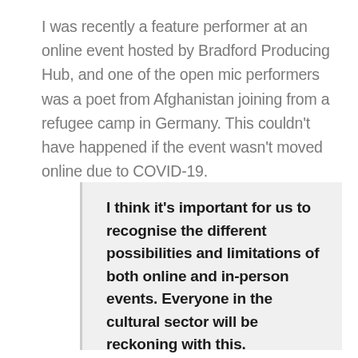I was recently a feature performer at an online event hosted by Bradford Producing Hub, and one of the open mic performers was a poet from Afghanistan joining from a refugee camp in Germany. This couldn't have happened if the event wasn't moved online due to COVID-19.
I think it's important for us to recognise the different possibilities and limitations of both online and in-person events. Everyone in the cultural sector will be reckoning with this.